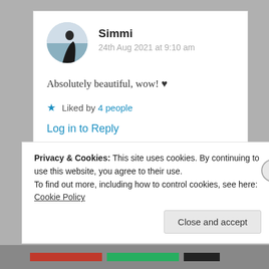Simmi
24th Aug 2021 at 9:10 am
Absolutely beautiful, wow! ♥
★ Liked by 4 people
Log in to Reply
Privacy & Cookies: This site uses cookies. By continuing to use this website, you agree to their use.
To find out more, including how to control cookies, see here: Cookie Policy
Close and accept